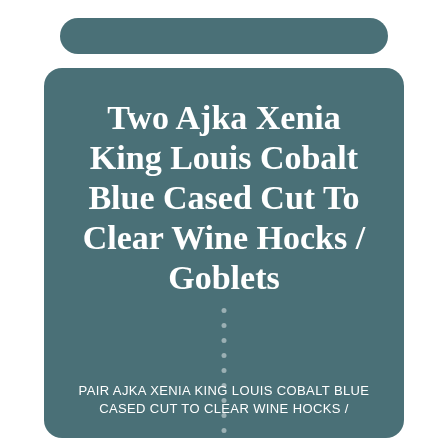Two Ajka Xenia King Louis Cobalt Blue Cased Cut To Clear Wine Hocks / Goblets
PAIR AJKA XENIA KING LOUIS COBALT BLUE CASED CUT TO CLEAR WINE HOCKS /